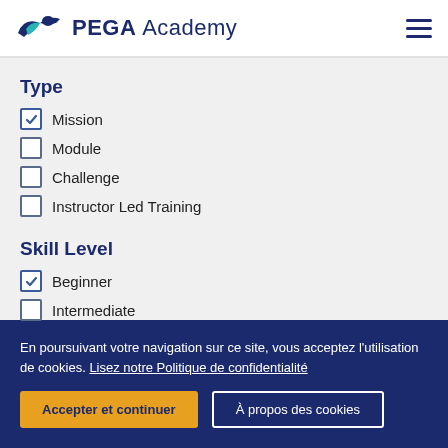PEGA Academy
Type
Mission (checked)
Module
Challenge
Instructor Led Training
Skill Level
Beginner (checked)
Intermediate
Product
En poursuivant votre navigation sur ce site, vous acceptez l'utilisation de cookies. Lisez notre Politique de confidentialité
Accepter et continuer | À propos des cookies